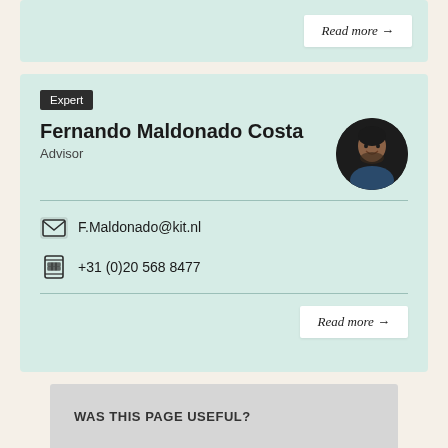Read more →
Expert
Fernando Maldonado Costa
Advisor
[Figure (photo): Circular profile photo of Fernando Maldonado Costa]
F.Maldonado@kit.nl
+31 (0)20 568 8477
Read more →
WAS THIS PAGE USEFUL?